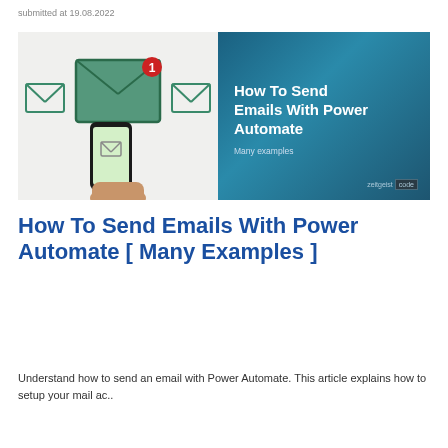submitted at 19.08.2022
[Figure (illustration): Two-panel banner image: left side shows illustrated email envelopes on a light grey background with a smartphone displaying an email icon; right side shows a dark teal background with white bold text 'How To Send Emails With Power Automate', subtitle 'Many examples', and 'zeitgeist code' branding in the bottom-right corner.]
How To Send Emails With Power Automate [ Many Examples ]
Understand how to send an email with Power Automate. This article explains how to setup your mail ac..